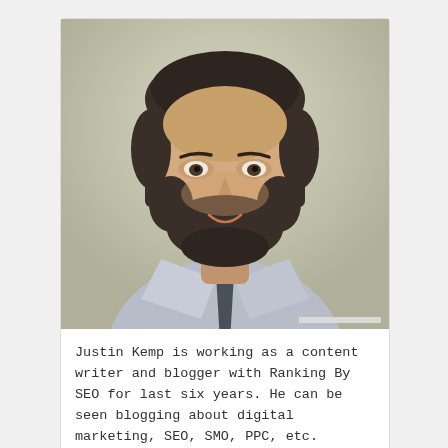[Figure (photo): Headshot photo of Justin Kemp, a man with dark beard wearing a light blue dress shirt and dark tie, smiling, against a light background.]
Justin Kemp is working as a content writer and blogger with Ranking By SEO for last six years. He can be seen blogging about digital marketing, SEO, SMO, PPC, etc.
[Figure (other): Five empty/outline star rating icons in gold/yellow color]